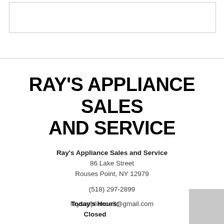[Figure (other): Empty bordered rectangle at top of page]
RAY'S APPLIANCE SALES AND SERVICE
Ray's Appliance Sales and Service
86 Lake Street
Rouses Point, NY 12979

(518) 297-2899

raysappliance8@gmail.com

Today's Hours:
Closed